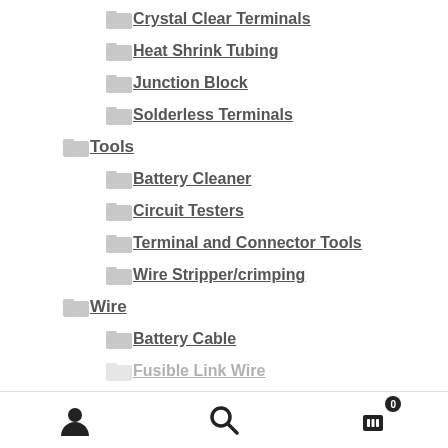Crystal Clear Terminals
Heat Shrink Tubing
Junction Block
Solderless Terminals
Tools
Battery Cleaner
Circuit Testers
Terminal and Connector Tools
Wire Stripper/crimping
Wire
Battery Cable
Fusible Link Wire
Navigation bar with user, search, and cart (0) icons